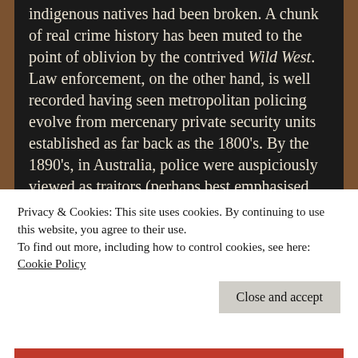indigenous natives had been broken. A chunk of real crime history has been muted to the point of oblivion by the contrived Wild West. Law enforcement, on the other hand, is well recorded having seen metropolitan policing evolve from mercenary private security units established as far back as the 1800's. By the 1890's, in Australia, police were auspiciously viewed as traitors (perhaps best emphasised from the earlier Irish Ned Kelly mythology) by the working class marked by an extremely violent period through to the 1920's. There was also a rapid expansion of police units in 1890 for many of the American key metropolitan
Privacy & Cookies: This site uses cookies. By continuing to use this website, you agree to their use.
To find out more, including how to control cookies, see here:
Cookie Policy
Close and accept